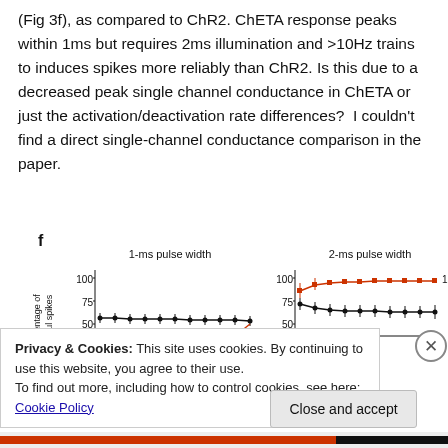(Fig 3f), as compared to ChR2. ChETA response peaks within 1ms but requires 2ms illumination and >10Hz trains to induces spikes more reliably than ChR2. Is this due to a decreased peak single channel conductance in ChETA or just the activation/deactivation rate differences?  I couldn't find a direct single-channel conductance comparison in the paper.
[Figure (line-chart): Two-panel line chart showing percentage of successful spikes vs stimulus frequency. Left panel: 1-ms pulse width, black line around 60-65% across frequencies, with orange line appearing near end dropping sharply around 50%. Right panel: 2-ms pulse width, orange line near 90-100%, black line around 65-75%. Both panels show error bars.]
Privacy & Cookies: This site uses cookies. By continuing to use this website, you agree to their use.
To find out more, including how to control cookies, see here: Cookie Policy
Close and accept